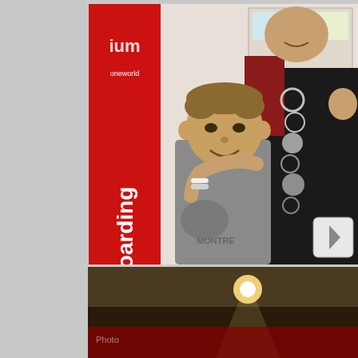[Figure (photo): A smiling young boy in a grey hoodie with 'MONTRE' text, standing in front of a red sign reading 'ium Boarding' (Premium Boarding), with a woman behind him wearing a red top and black outfit with a large circular necklace, and another person partially visible on the right.]
[Figure (photo): Partial view of a second photo showing a dark interior scene with a ceiling light spotlight visible, and red elements at the bottom.]